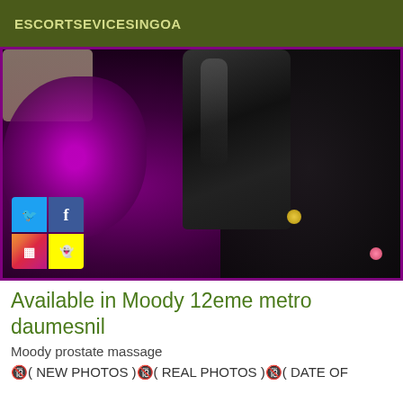ESCORTSEVICESINGOA
[Figure (photo): Photo showing a person in a purple sequined outfit with black boots and black fur, with social media icons (Twitter, Facebook, Instagram, Snapchat) overlaid in the bottom-left corner. Purple border around the image.]
Available in Moody 12eme metro daumesnil
Moody prostate massage
🔞( NEW PHOTOS )🔞( REAL PHOTOS )🔞( DATE OF